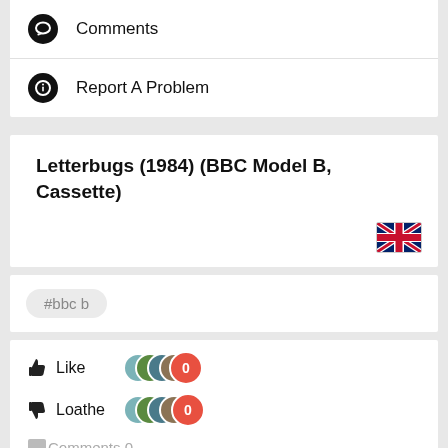Comments
Report A Problem
Letterbugs (1984) (BBC Model B, Cassette)
[Figure (illustration): UK flag emoji]
#bbc b
Like 0
Loathe 0
Comments 0